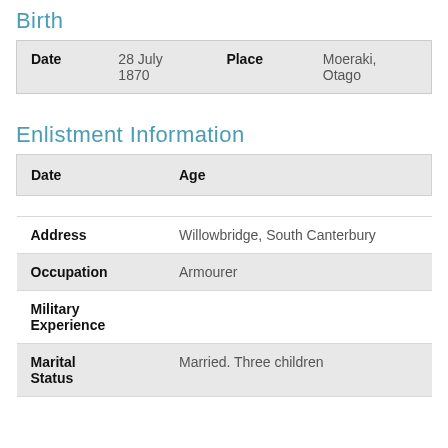Birth
| Date | Place |
| --- | --- |
| 28 July 1870 | Moeraki, Otago |
Enlistment Information
| Date | Age | Address | Occupation | Military Experience | Marital Status |
| --- | --- | --- | --- | --- | --- |
|  |  |  |  |
|  | Willowbridge, South Canterbury |
|  | Armourer |
|  |  |
|  | Married. Three children |